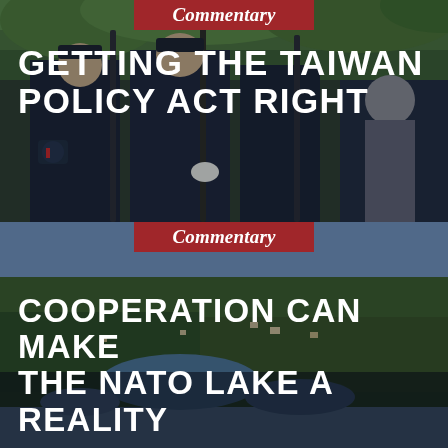[Figure (photo): Taiwanese military honor guard soldiers in dark uniforms holding rifles at attention, outdoors with green foliage background]
Commentary
GETTING THE TAIWAN POLICY ACT RIGHT
[Figure (photo): Aerial view of a lake surrounded by dense forest and scattered buildings, likely a Nordic landscape]
Commentary
COOPERATION CAN MAKE THE NATO LAKE A REALITY